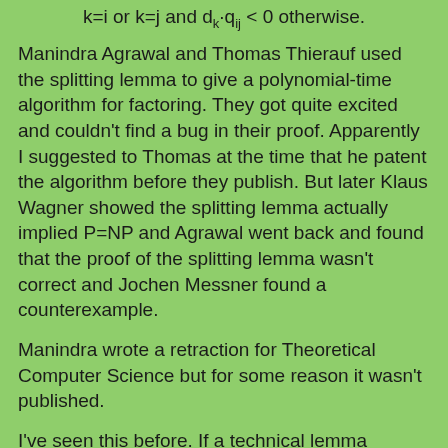Manindra Agrawal and Thomas Thierauf used the splitting lemma to give a polynomial-time algorithm for factoring. They got quite excited and couldn't find a bug in their proof. Apparently I suggested to Thomas at the time that he patent the algorithm before they publish. But later Klaus Wagner showed the splitting lemma actually implied P=NP and Agrawal went back and found that the proof of the splitting lemma wasn't correct and Jochen Messner found a counterexample.
Manindra wrote a retraction for Theoretical Computer Science but for some reason it wasn't published.
I've seen this before. If a technical lemma doesn't imply anything particularly surprising, it might not get checked very carefully. But only later when researchers start using it to get amazing results do people go back and realize there was a problem with the lemma after all.
Flash forward more than a decade later to this week at Dagstuhl. Harry Buhrman, John Hitchcock and Harry's